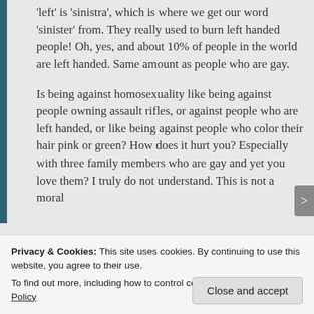'left' is 'sinistra', which is where we get our word 'sinister' from. They really used to burn left handed people! Oh, yes, and about 10% of people in the world are left handed. Same amount as people who are gay.
Is being against homosexuality like being against people owning assault rifles, or against people who are left handed, or like being against people who color their hair pink or green? How does it hurt you? Especially with three family members who are gay and yet you love them? I truly do not understand. This is not a moral
Privacy & Cookies: This site uses cookies. By continuing to use this website, you agree to their use.
To find out more, including how to control cookies, see here: Cookie Policy
Close and accept